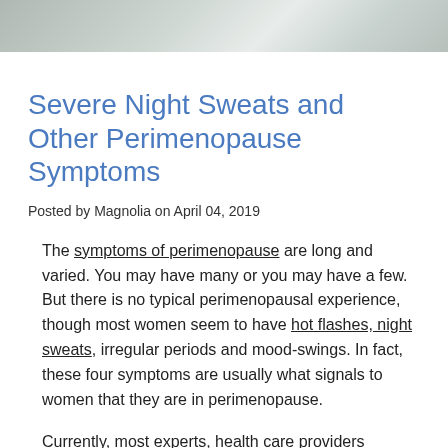[Figure (photo): Partial photo strip at the top of the page showing what appears to be a bedroom or person, cropped to a narrow horizontal band]
Severe Night Sweats and Other Perimenopause Symptoms
Posted by Magnolia on April 04, 2019
The symptoms of perimenopause are long and varied. You may have many or you may have a few. But there is no typical perimenopausal experience, though most women seem to have hot flashes, night sweats, irregular periods and mood-swings. In fact, these four symptoms are usually what signals to women that they are in perimenopause.
Currently, most experts, health care providers